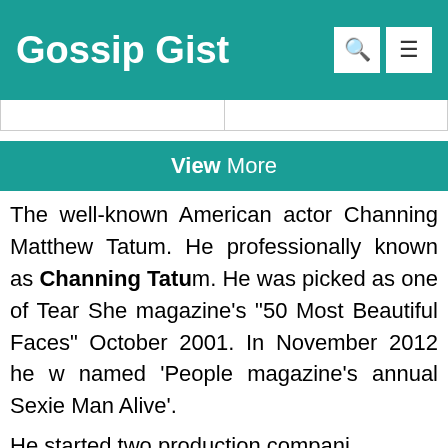Gossip Gist
View More
The well-known American actor Channing Matthew Tatum. He professionally known as Channing Tatum. He was picked as one of Tear She magazine's "50 Most Beautiful Faces" October 2001. In November 2012 he was named 'People magazine's annual Sexiest Man Alive'.
He started two production companies